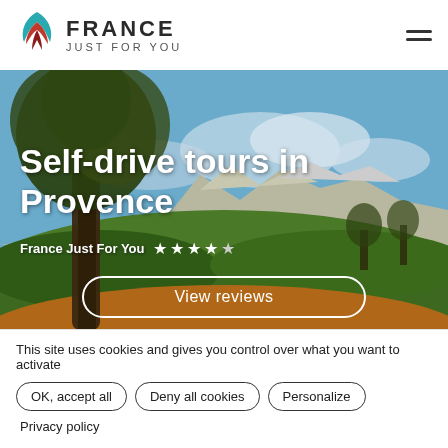[Figure (logo): France Just For You logo with stylized leaf/flame icon in teal and red, with text FRANCE and JUST FOR YOU]
[Figure (photo): Scenic Provence landscape with olive tree in foreground, green fields, mountains (Alpilles) and blue sky in background]
Self-drive tours in Provence
France Just For You ★ ★ ★ ★ ★
View reviews
© Alain Hocquel - CDT Vaucluse
This site uses cookies and gives you control over what you want to activate
OK, accept all
Deny all cookies
Personalize
Privacy policy